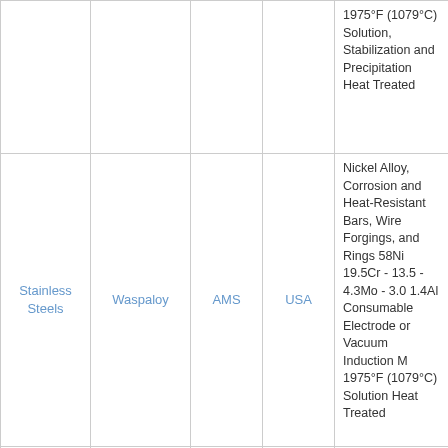| Category | Material | Standard | Origin | Description |
| --- | --- | --- | --- | --- |
|  |  |  |  | 1975°F (1079°C) Solution, Stabilization and Precipitation Heat Treated |
| Stainless Steels | Waspaloy | AMS | USA | Nickel Alloy, Corrosion and Heat-Resistant Bars, Wire Forgings, and Rings 58Ni 19.5Cr - 13.5 - 4.3Mo - 3.0 1.4Al Consumable Electrode or Vacuum Induction M 1975°F (1079°C) Solution Heat Treated |
| Stainless | Waspaloy | AMS | USA | Nickel Alloy... |